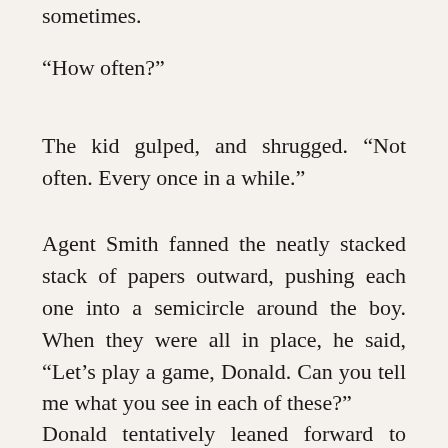sometimes.
“How often?”
The kid gulped, and shrugged. “Not often. Every once in a while.”
Agent Smith fanned the neatly stacked stack of papers outward, pushing each one into a semicircle around the boy. When they were all in place, he said, “Let’s play a game, Donald. Can you tell me what you see in each of these?”
Donald tentatively leaned forward to look,